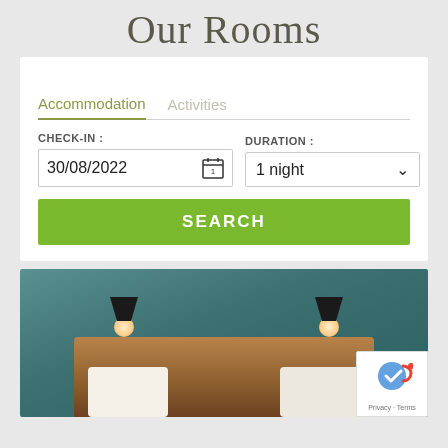Our Rooms
[Figure (screenshot): Hotel booking widget with tabs 'Accommodation' (active) and 'Activities', check-in date field showing 30/08/2022 with calendar icon, duration dropdown showing '1 night', and a green SEARCH button]
[Figure (photo): Hotel room photo showing a double bed with white pillows against a teal/dark green wall with two pendant lamps, wooden headboard]